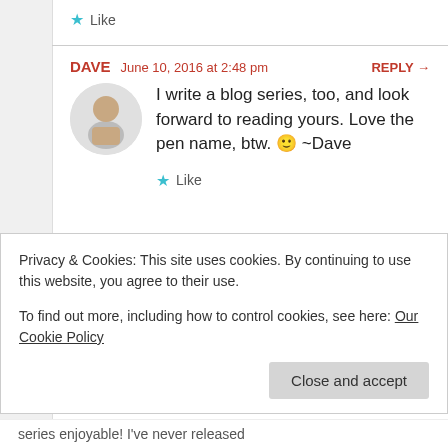★ Like
DAVE   June 10, 2016 at 2:48 pm   REPLY →
I write a blog series, too, and look forward to reading yours. Love the pen name, btw. 🙂 ~Dave
★ Like
Privacy & Cookies: This site uses cookies. By continuing to use this website, you agree to their use.
To find out more, including how to control cookies, see here: Our Cookie Policy
Close and accept
series enjoyable! I've never released